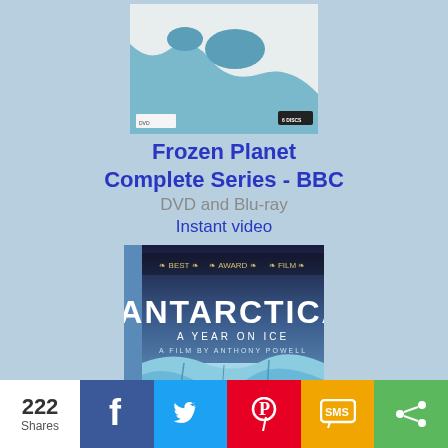[Figure (photo): DVD cover of Frozen Planet Complete Series BBC showing aerial view of ice and water]
Frozen Planet Complete Series - BBC
DVD and Blu-ray
Instant video
[Figure (photo): DVD box of Antarctica: A Year on Ice, a film by Anthony Powell, showing large white ice cliffs with a person in a red jacket]
222 Shares